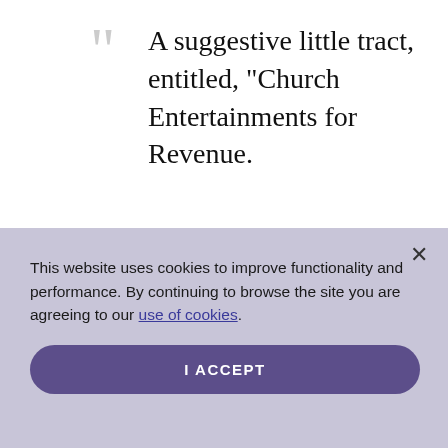A suggestive little tract, entitled, "Church Entertainments for Revenue.
This website uses cookies to improve functionality and performance. By continuing to browse the site you are agreeing to our use of cookies.
I ACCEPT